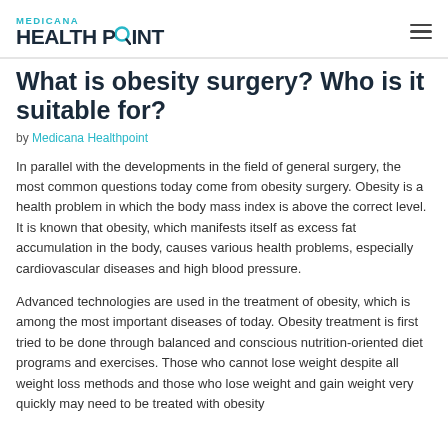MEDICANA HEALTHPOINT
What is obesity surgery? Who is it suitable for?
by Medicana Healthpoint
In parallel with the developments in the field of general surgery, the most common questions today come from obesity surgery. Obesity is a health problem in which the body mass index is above the correct level. It is known that obesity, which manifests itself as excess fat accumulation in the body, causes various health problems, especially cardiovascular diseases and high blood pressure.
Advanced technologies are used in the treatment of obesity, which is among the most important diseases of today. Obesity treatment is first tried to be done through balanced and conscious nutrition-oriented diet programs and exercises. Those who cannot lose weight despite all weight loss methods and those who lose weight and gain weight very quickly may need to be treated with obesity